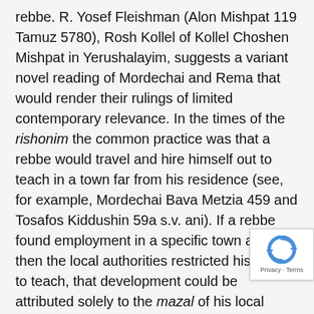rebbe.  R. Yosef Fleishman (Alon Mishpat 119 Tamuz 5780), Rosh Kollel of Kollel Choshen Mishpat in Yerushalayim, suggests a variant novel reading of Mordechai and Rema that would render their rulings of limited contemporary relevance.  In the times of the rishonim the common practice was that a rebbe would travel and hire himself out to teach in a town far from his residence (see, for example, Mordechai Bava Metzia 459 and Tosafos Kiddushin 59a s.v. ani).  If a rebbe found employment in a specific town and then the local authorities restricted his ability to teach, that development could be attributed solely to the mazal of his local employer, as the rebbe could just as well travel to any other town where he could teach freely.  In such a case, employer would be responsible for the full
[Figure (other): reCAPTCHA logo overlay in bottom-right corner with 'Privacy - Terms' text]